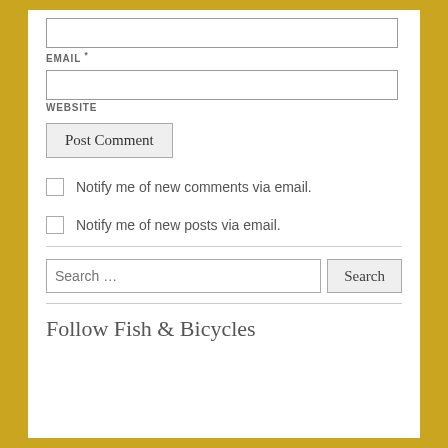EMAIL *
WEBSITE
Post Comment
Notify me of new comments via email.
Notify me of new posts via email.
Search …
Follow Fish & Bicycles